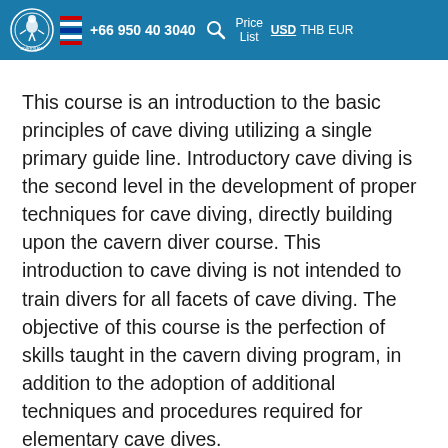+66 950 40 3040   Price List   USD THB EUR
This course is an introduction to the basic principles of cave diving utilizing a single primary guide line. Introductory cave diving is the second level in the development of proper techniques for cave diving, directly building upon the cavern diver course. This introduction to cave diving is not intended to train divers for all facets of cave diving. The objective of this course is the perfection of skills taught in the cavern diving program, in addition to the adoption of additional techniques and procedures required for elementary cave dives.